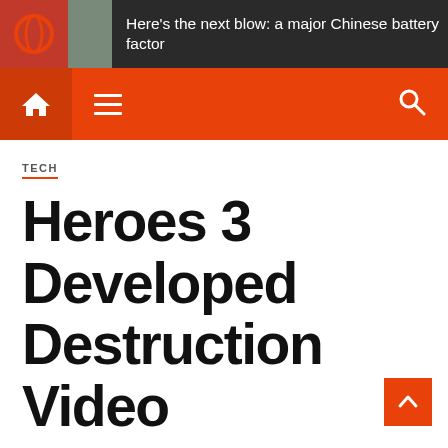Here’s the next blow: a major Chinese battery factor
[Figure (screenshot): Website navigation bar with home icon, hamburger menu, and search icon on orange background]
TECH
Heroes 3 Developed Destruction Video